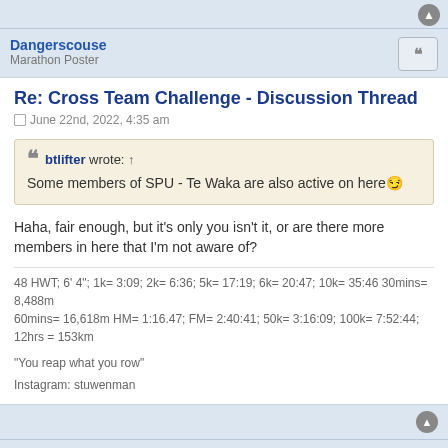Dangerscouse
Marathon Poster
Re: Cross Team Challenge - Discussion Thread
June 22nd, 2022, 4:35 am
btlifter wrote: ↑ Some members of SPU - Te Waka are also active on here 😏
Haha, fair enough, but it's only you isn't it, or are there more members in here that I'm not aware of?
48 HWT; 6' 4"; 1k= 3:09; 2k= 6:36; 5k= 17:19; 6k= 20:47; 10k= 35:46 30mins= 8,488m 60mins= 16,618m HM= 1:16.47; FM= 2:40:41; 50k= 3:16:09; 100k= 7:52:44; 12hrs = 153km
"You reap what you row"
Instagram: stuwenman
btlifter
2k Poster
Re: Cross Team Challenge - Discussion Thread